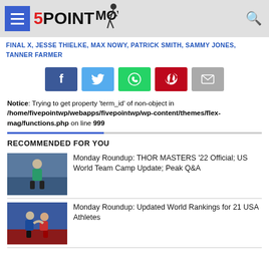5POINT MOVE — navigation header with hamburger menu and search icon
FINAL X, JESSE THIELKE, MAX NOWY, PATRICK SMITH, SAMMY JONES, TANNER FARMER
[Figure (other): Social share buttons: Facebook, Twitter, WhatsApp, Pinterest, Email]
Notice: Trying to get property 'term_id' of non-object in /home/fivepointwp/webapps/fivepointwp/wp-content/themes/flex-mag/functions.php on line 999
RECOMMENDED FOR YOU
[Figure (photo): Photo of wrestler standing on mat]
Monday Roundup: THOR MASTERS '22 Official; US World Team Camp Update; Peak Q&A
[Figure (photo): Photo of two wrestlers grappling]
Monday Roundup: Updated World Rankings for 21 USA Athletes